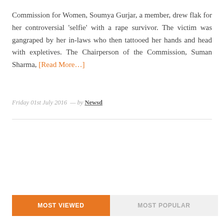Commission for Women, Soumya Gurjar, a member, drew flak for her controversial 'selfie' with a rape survivor. The victim was gangraped by her in-laws who then tattooed her hands and head with expletives. The Chairperson of the Commission, Suman Sharma, [Read More…]
Friday 01st July 2016  —  by Newsd
MOST VIEWED
MOST POPULAR